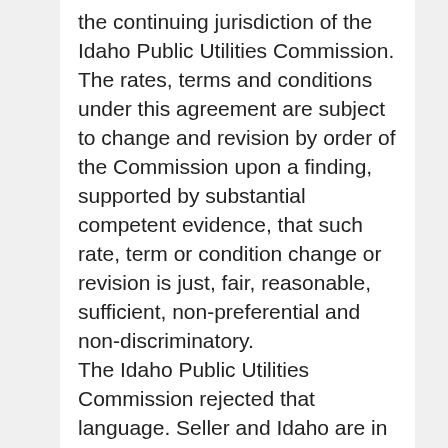the continuing jurisdiction of the Idaho Public Utilities Commission. The rates, terms and conditions under this agreement are subject to change and revision by order of the Commission upon a finding, supported by substantial competent evidence, that such rate, term or condition change or revision is just, fair, reasonable, sufficient, non-preferential and non-discriminatory. The Idaho Public Utilities Commission rejected that language. Seller and Idaho are in agreement that if, as a result of a legal determination as to the Idaho Public Utilities Commission's authority to dictate rules, terms and conditions or to